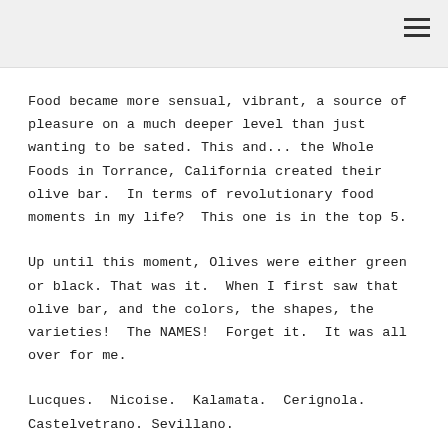Food became more sensual, vibrant, a source of pleasure on a much deeper level than just wanting to be sated. This and... the Whole Foods in Torrance, California created their olive bar.  In terms of revolutionary food moments in my life?  This one is in the top 5.
Up until this moment, Olives were either green or black. That was it.  When I first saw that olive bar, and the colors, the shapes, the varieties!  The NAMES!  Forget it.  It was all over for me.
Lucques.  Nicoise.  Kalamata.  Cerignola.  Castelvetrano. Sevillano.
Round and firm, it's a fruit you eat with your hands, it's